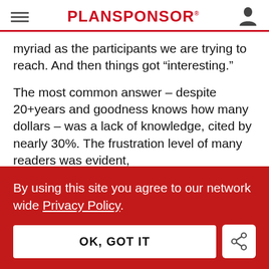PLANSPONSOR
myriad as the participants we are trying to reach.   And then things got “interesting.”
The most common answer – despite 20+years and goodness knows how many dollars – was a lack of knowledge, cited by nearly 30%.   The frustration level of many readers was evident,
By using this site you agree to our network wide Privacy Policy.
OK, GOT IT